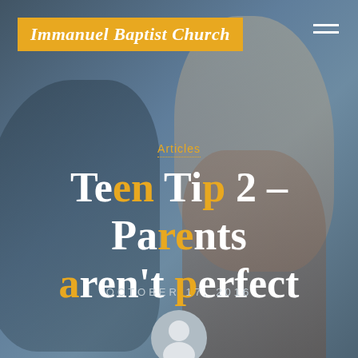[Figure (photo): Background photo showing two people in conflict — one standing with hand raised, one seated looking down — with bluish-gray overlay tint]
Immanuel Baptist Church
Articles
Teen Tip 2 – Parents aren't perfect
OCTOBER 17, 2016
[Figure (illustration): Circular author avatar showing silhouette of a person]
immanuel